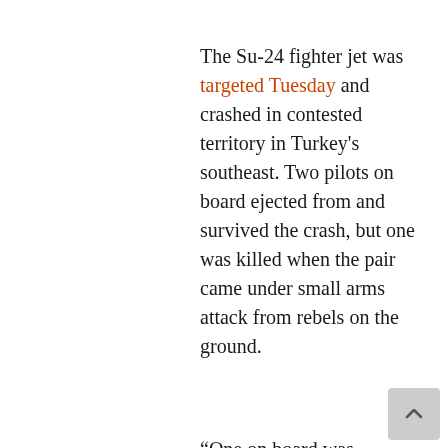The Su-24 fighter jet was targeted Tuesday and crashed in contested territory in Turkey's southeast. Two pilots on board ejected from and survived the crash, but one was killed when the pair came under small arms attack from rebels on the ground.
“One on board was wounded when he parachuted down and [was] killed in a savage way on the ground by jihadists in the area,” Aleksandr Orlov, Russia’s ambassador in France, said.
Capt. Konstantin Murakhtin said he and fellow pilot Lt. Col. Oleg Peshkov were not given any visual or radio warnings by the Turkish government. He also denied flying into Turkish airspace because the pilots knew the region “like the back of their hand.”